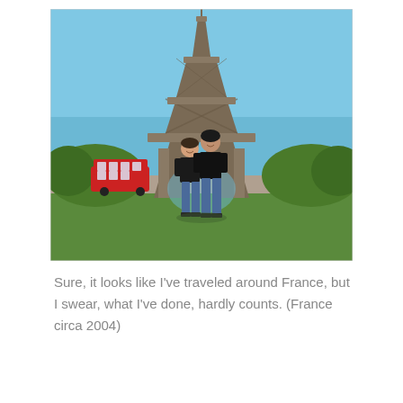[Figure (photo): Two women standing in front of the Eiffel Tower in Paris, France. The sky is clear blue. Trees are visible on both sides. A red double-decker bus is visible in the background on the left. Both women are wearing black tops and jeans. Photo taken circa 2004.]
Sure, it looks like I've traveled around France, but I swear, what I've done, hardly counts. (France circa 2004)